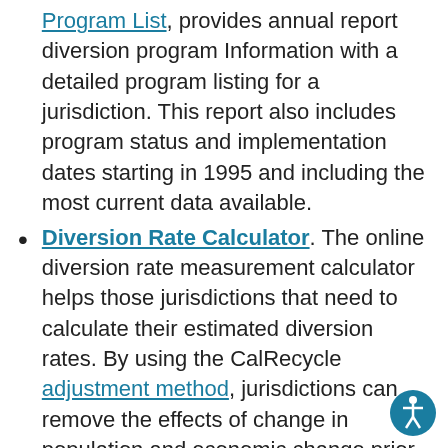Program List, provides annual report diversion program Information with a detailed program listing for a jurisdiction. This report also includes program status and implementation dates starting in 1995 and including the most current data available.
Diversion Rate Calculator. The online diversion rate measurement calculator helps those jurisdictions that need to calculate their estimated diversion rates. By using the CalRecycle adjustment method, jurisdictions can remove the effects of change in population and economic change prior to 2007. The focus after 2007 will be program implementation, actual recycling, and other diversion programs instead of estimated numbers.
Local Government Forms. CalRecycle's Local